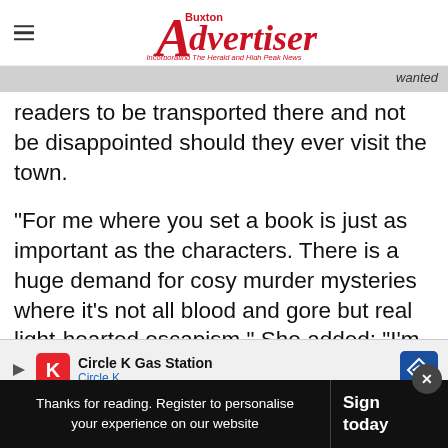Buxton Advertiser - Incorporating The Herald and High Peak News
readers to be transported there and not be disappointed should they ever visit the town.
"For me where you set a book is just as important as the characters. There is a huge demand for cosy murder mysteries where it’s not all blood and gore but real light-hearted escapism." She added: “I’m really excited about this n... d even... e
[Figure (infographic): Circle K Gas Station advertisement banner with Circle K logo and navigation icon]
Thanks for reading. Register to personalise your experience on our website | Sign today